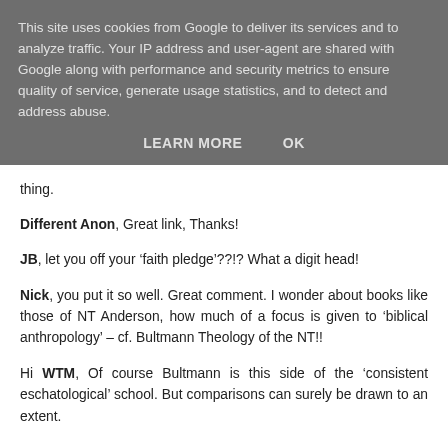This site uses cookies from Google to deliver its services and to analyze traffic. Your IP address and user-agent are shared with Google along with performance and security metrics to ensure quality of service, generate usage statistics, and to detect and address abuse.
LEARN MORE    OK
thing.
Different Anon, Great link, Thanks!
JB, let you off your ‘faith pledge’??!? What a digit head!
Nick, you put it so well. Great comment. I wonder about books like those of NT Anderson, how much of a focus is given to ‘biblical anthropology’ – cf. Bultmann Theology of the NT!!
Hi WTM, Of course Bultmann is this side of the ‘consistent eschatological’ school. But comparisons can surely be drawn to an extent.